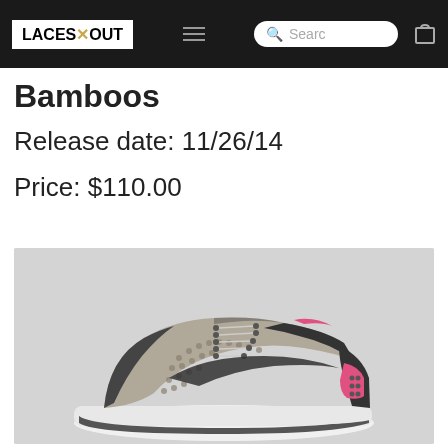LACES X OUT
Bamboos
Release date: 11/26/14
Price: $110.00
[Figure (photo): Nike Air Huarache sneaker in gray/khaki with black overlays and pink accent on heel tab, white sole, shown from side profile on light gray background]